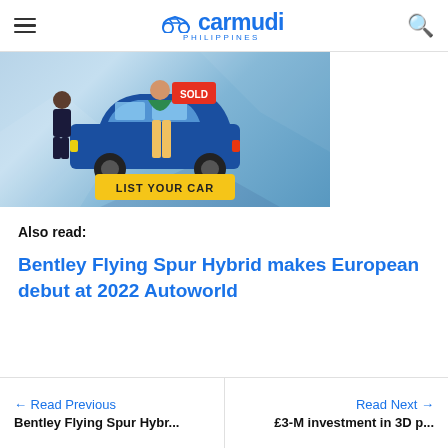carmudi PHILIPPINES
[Figure (illustration): Carmudi Philippines banner ad showing a cartoon blue car with a SOLD sign, two people, and a yellow 'LIST YOUR CAR' button on a blue geometric background]
Also read:
Bentley Flying Spur Hybrid makes European debut at 2022 Autoworld
← Read Previous | Bentley Flying Spur Hybr... | Read Next → | £3-M investment in 3D p...